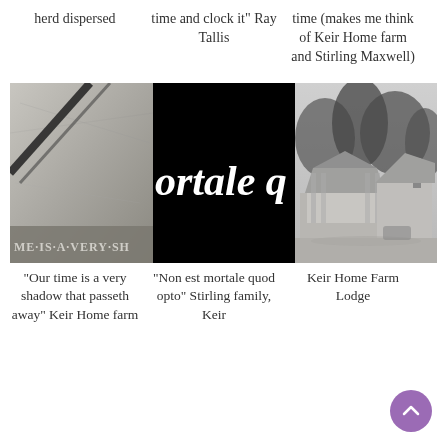herd dispersed
time and clock it” Ray Tallis
time (makes me think of Keir Home farm and Stirling Maxwell)
[Figure (photo): Three-panel composite image: left panel shows a close-up of stone engraving with text 'ME IS A VERY SH'; center panel is black background with white stylized text 'mortale q'; right panel shows a black-and-white photograph of Keir Home Farm Lodge building with trees.]
“Our time is a very shadow that passeth away” Keir Home farm
“Non est mortale quod opto” Stirling family, Keir
Keir Home Farm Lodge